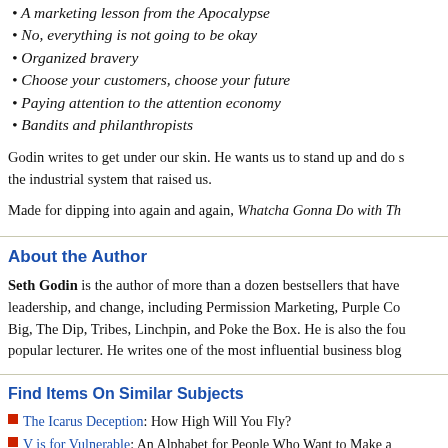A marketing lesson from the Apocalypse
No, everything is not going to be okay
Organized bravery
Choose your customers, choose your future
Paying attention to the attention economy
Bandits and philanthropists
Godin writes to get under our skin. He wants us to stand up and do something about the industrial system that raised us.
Made for dipping into again and again, Whatcha Gonna Do with Th...
About the Author
Seth Godin is the author of more than a dozen bestsellers that have changed leadership, and change, including Permission Marketing, Purple Co... Big, The Dip, Tribes, Linchpin, and Poke the Box. He is also the fou... popular lecturer. He writes one of the most influential business blog...
Find Items On Similar Subjects
The Icarus Deception: How High Will You Fly?
V is for Vulnerable: An Alphabet for People Who Want to Make a...